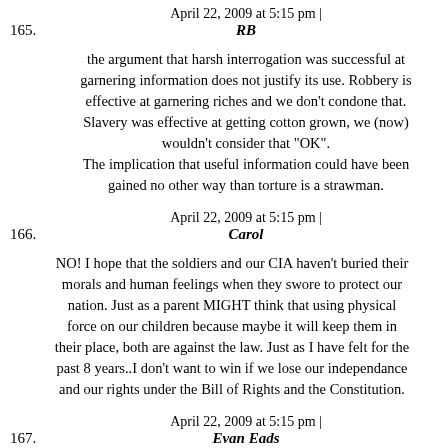165. April 22, 2009 at 5:15 pm | RB
the argument that harsh interrogation was successful at garnering information does not justify its use. Robbery is effective at garnering riches and we don't condone that. Slavery was effective at getting cotton grown, we (now) wouldn't consider that "OK". The implication that useful information could have been gained no other way than torture is a strawman.
166. April 22, 2009 at 5:15 pm | Carol
NO! I hope that the soldiers and our CIA haven't buried their morals and human feelings when they swore to protect our nation. Just as a parent MIGHT think that using physical force on our children because maybe it will keep them in their place, both are against the law. Just as I have felt for the past 8 years..I don't want to win if we lose our independance and our rights under the Bill of Rights and the Constitution.
167. April 22, 2009 at 5:15 pm | Evan Eads